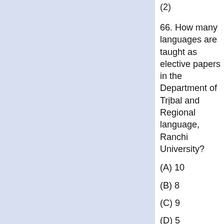(2)
66. How many languages are taught as elective papers in the Department of Tribal and Regional language, Ranchi University?
(A) 10
(B) 8
(C) 9
(D) 5